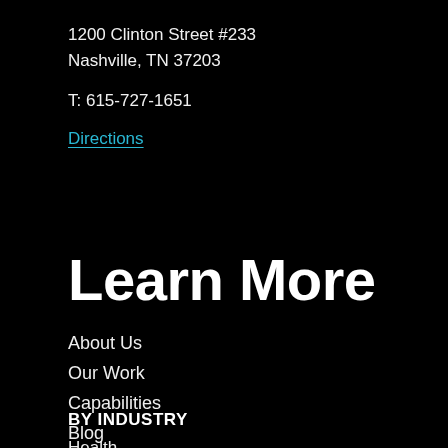1200 Clinton Street #233
Nashville, TN 37203
T: 615-727-1651
Directions
Learn More
About Us
Our Work
Capabilities
Blog
BY INDUSTRY
Health